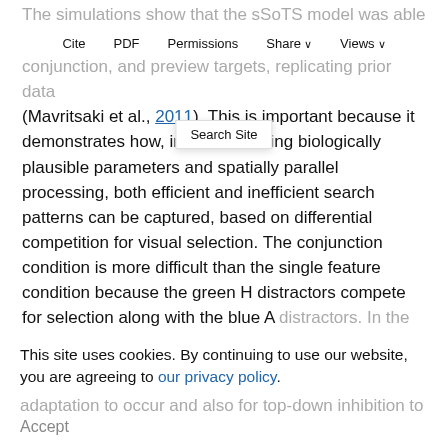Cite   PDF   Permissions   Share   Views
Search Site
The simulations show that the sSoTS model was able to simulate human visual search for single feature, conjunction, and preview targets, replicating prior data (Mavritsaki et al., 2011). This is important because it demonstrates how, in a model using biologically plausible parameters and spatially parallel processing, both efficient and inefficient search patterns can be captured, based on differential competition for visual selection. The conjunction condition is more difficult than the single feature condition because the green H distractors compete for selection along with the blue A distractors. In the preview condition, the competition from the green distractors is reduced when the interval between the items is sufficiently long for adaptation to occur and also for top-down inhibition to
This site uses cookies. By continuing to use our website, you are agreeing to our privacy policy.
Accept